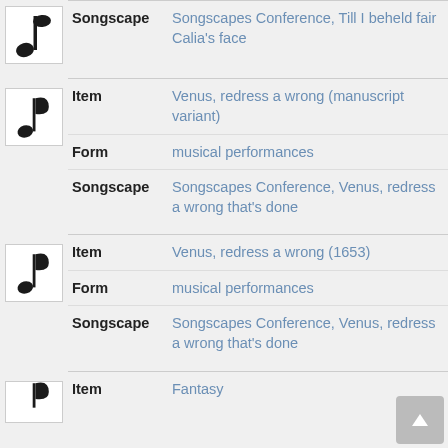| Label | Value |
| --- | --- |
| Songscape | Songscapes Conference, Till I beheld fair Calia's face |
| Item | Venus, redress a wrong (manuscript variant) |
| Form | musical performances |
| Songscape | Songscapes Conference, Venus, redress a wrong that's done |
| Item | Venus, redress a wrong (1653) |
| Form | musical performances |
| Songscape | Songscapes Conference, Venus, redress a wrong that's done |
| Item | Fantasy |